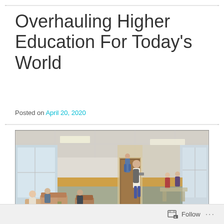Overhauling Higher Education For Today's World
Posted on April 20, 2020
[Figure (photo): Interior photo of a university dormitory or student lounge hallway. On the left, students are sitting and chatting on modular orange/brown sofas and chairs around low tables. A person stands near large windows on the left. In the center, a student with a backpack stands near a door. On the right side, students are visible in a brighter corridor area with tables. The walls have a distinctive orange and green color band.]
Follow ...